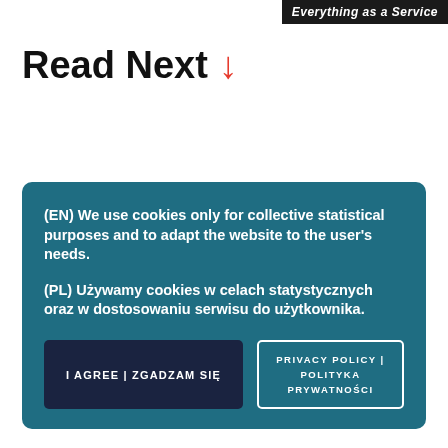Everything as a Service
Read Next ↓
(EN) We use cookies only for collective statistical purposes and to adapt the website to the user's needs.

(PL) Używamy cookies w celach statystycznych oraz w dostosowaniu serwisu do użytkownika.
I AGREE | ZGADZAM SIĘ
PRIVACY POLICY | POLITYKA PRYWATNOŚCI